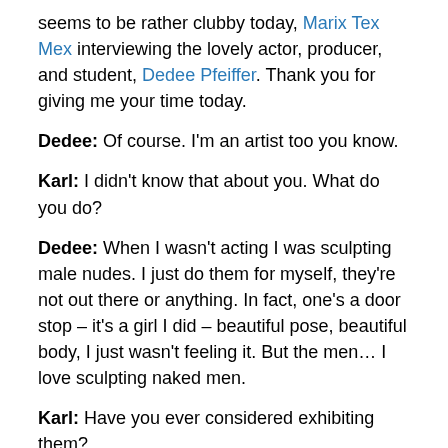seems to be rather clubby today, Marix Tex Mex interviewing the lovely actor, producer, and student, Dedee Pfeiffer. Thank you for giving me your time today.
Dedee: Of course. I'm an artist too you know.
Karl: I didn't know that about you. What do you do?
Dedee: When I wasn't acting I was sculpting male nudes. I just do them for myself, they're not out there or anything. In fact, one's a door stop – it's a girl I did – beautiful pose, beautiful body, I just wasn't feeling it. But the men… I love sculpting naked men.
Karl: Have you ever considered exhibiting them?
Dedee: No, I just have two in my home. They were very therapeutic when I was acting because there were so